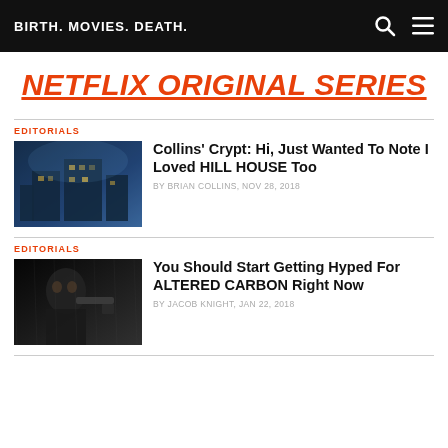BIRTH. MOVIES. DEATH.
NETFLIX ORIGINAL SERIES
EDITORIALS
Collins' Crypt: Hi, Just Wanted To Note I Loved HILL HOUSE Too
By BRIAN COLLINS, Nov 28, 2018
EDITORIALS
You Should Start Getting Hyped For ALTERED CARBON Right Now
By JACOB KNIGHT, Jan 22, 2018